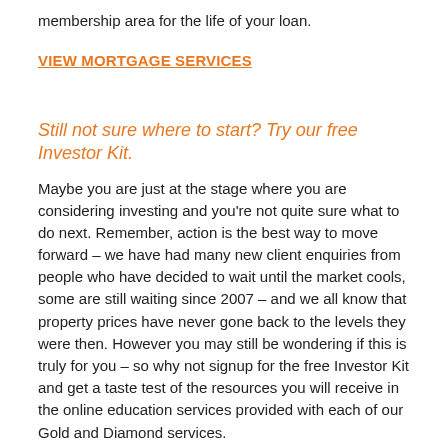membership area for the life of your loan.
VIEW MORTGAGE SERVICES
Still not sure where to start? Try our free Investor Kit.
Maybe you are just at the stage where you are considering investing and you're not quite sure what to do next. Remember, action is the best way to move forward – we have had many new client enquiries from people who have decided to wait until the market cools, some are still waiting since 2007 – and we all know that property prices have never gone back to the levels they were then. However you may still be wondering if this is truly for you – so why not signup for the free Investor Kit and get a taste test of the resources you will receive in the online education services provided with each of our Gold and Diamond services.
ACCESS INVESTOR KIT FOR FREE
First Name *